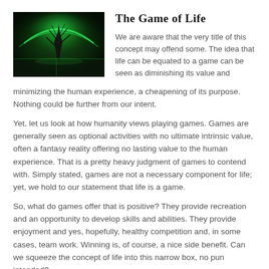[Figure (photo): A dramatic photo of a tree silhouette glowing with green northern lights/bioluminescent aura against a dark background, reflected in water below.]
The Game of Life
We are aware that the very title of this concept may offend some. The idea that life can be equated to a game can be seen as diminishing its value and minimizing the human experience, a cheapening of its purpose. Nothing could be further from our intent.
Yet, let us look at how humanity views playing games. Games are generally seen as optional activities with no ultimate intrinsic value, often a fantasy reality offering no lasting value to the human experience. That is a pretty heavy judgment of games to contend with. Simply stated, games are not a necessary component for life; yet, we hold to our statement that life is a game.
So, what do games offer that is positive? They provide recreation and an opportunity to develop skills and abilities. They provide enjoyment and yes, hopefully, healthy competition and, in some cases, team work. Winning is, of course, a nice side benefit. Can we squeeze the concept of life into this narrow box, no pun intended?